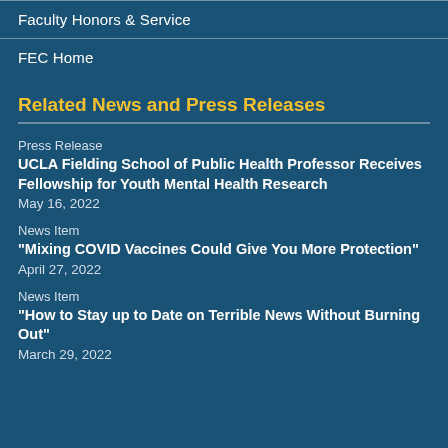Faculty Honors & Service
FEC Home
Related News and Press Releases
Press Release
UCLA Fielding School of Public Health Professor Receives Fellowship for Youth Mental Health Research
May 16, 2022
News Item
"Mixing COVID Vaccines Could Give You More Protection"
April 27, 2022
News Item
"How to Stay up to Date on Terrible News Without Burning Out"
March 29, 2022